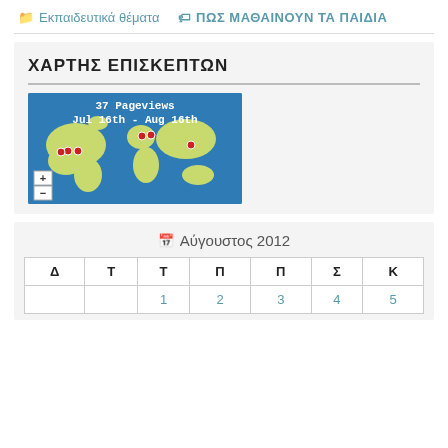Εκπαιδευτικά θέματα   ΠΩΣ ΜΑΘΑΙΝΟΥΝ ΤΑ ΠΑΙΔΙΑ
ΧΑΡΤΗΣ ΕΠΙΣΚΕΠΤΩΝ
[Figure (map): World visitor map widget showing 37 Pageviews Jul 16th - Aug 16th, with red dot markers on North America, Europe, and Asia on a blue background.]
Αύγουστος 2012
| Δ | Τ | Τ | Π | Π | Σ | Κ |
| --- | --- | --- | --- | --- | --- | --- |
|  |  | 1 | 2 | 3 | 4 | 5 |